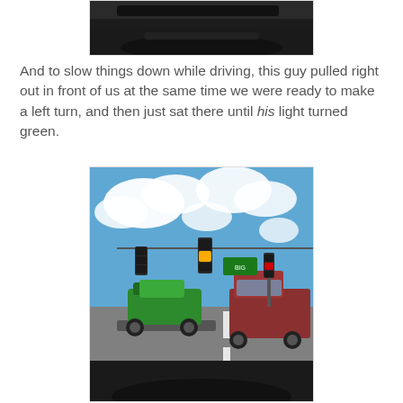[Figure (photo): View from inside a car dashboard, dark interior visible at top]
And to slow things down while driving, this guy pulled right out in front of us at the same time we were ready to make a left turn, and then just sat there until his light turned green.
[Figure (photo): View from inside a car at a road intersection. A green ATV (quad bike) sits on a flatbed trailer in the middle of the intersection blocking the lane. A red pickup truck is visible to the right. Traffic lights and road signs visible overhead against a blue cloudy sky. Car dashboard visible at the bottom of the frame.]